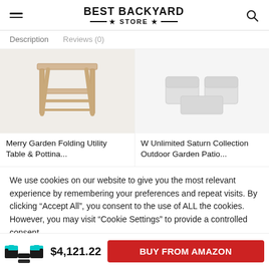BEST BACKYARD STORE
Description   Reviews (0)
[Figure (photo): Merry Garden Folding Utility Table & Potting... - wooden folding bench/table product photo]
[Figure (photo): W Unlimited Saturn Collection Outdoor Garden Patio... - patio furniture product photo]
Merry Garden Folding Utility Table & Pottina...
W Unlimited Saturn Collection Outdoor Garden Patio...
We use cookies on our website to give you the most relevant experience by remembering your preferences and repeat visits. By clicking “Accept All”, you consent to the use of ALL the cookies. However, you may visit “Cookie Settings” to provide a controlled consent.
[Figure (photo): Small product thumbnail showing a black wicker sectional sofa set with turquoise/teal cushions]
$4,121.22
BUY FROM AMAZON